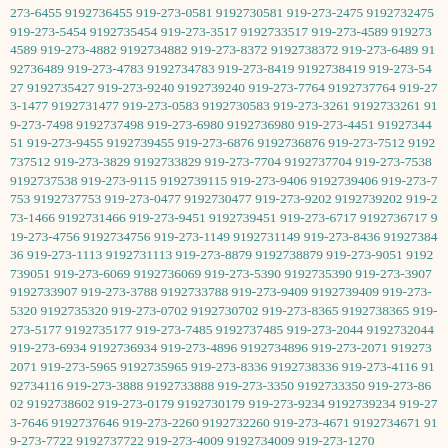273-6455 9192736455 919-273-0581 9192730581 919-273-2475 9192732475 919-273-5454 9192735454 919-273-3517 9192733517 919-273-4589 9192734589 919-273-4882 9192734882 919-273-8372 9192738372 919-273-6489 9192736489 919-273-4783 9192734783 919-273-8419 9192738419 919-273-5427 9192735427 919-273-9240 9192739240 919-273-7764 9192737764 919-273-1477 9192731477 919-273-0583 9192730583 919-273-3261 9192733261 919-273-7498 9192737498 919-273-6980 9192736980 919-273-4451 9192734451 919-273-9455 9192739455 919-273-6876 9192736876 919-273-7512 9192737512 919-273-3829 9192733829 919-273-7704 9192737704 919-273-7538 9192737538 919-273-9115 9192739115 919-273-9406 9192739406 919-273-7753 9192737753 919-273-0477 9192730477 919-273-9202 9192739202 919-273-1466 9192731466 919-273-9451 9192739451 919-273-6717 9192736717 919-273-4756 9192734756 919-273-1149 9192731149 919-273-8436 9192738436 919-273-1113 9192731113 919-273-8879 9192738879 919-273-9051 9192739051 919-273-6069 9192736069 919-273-5390 9192735390 919-273-3907 9192733907 919-273-3788 9192733788 919-273-9409 9192739409 919-273-5320 9192735320 919-273-0702 9192730702 919-273-8365 9192738365 919-273-5177 9192735177 919-273-7485 9192737485 919-273-2044 9192732044 919-273-6934 9192736934 919-273-4896 9192734896 919-273-2071 9192732071 919-273-5965 9192735965 919-273-8336 9192738336 919-273-4116 9192734116 919-273-3888 9192733888 919-273-3350 9192733350 919-273-8602 9192738602 919-273-0179 9192730179 919-273-9234 9192739234 919-273-7646 9192737646 919-273-2260 9192732260 919-273-4671 9192734671 919-273-7722 9192737722 919-273-4009 9192734009 919-273-1270